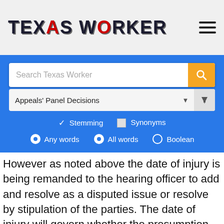TEXAS WORKER
[Figure (screenshot): Search interface with input field 'Search Texas Worker', gold search button, 'Appeals' Panel Decisions' dropdown selector, Stemming/Synonyms checkboxes, and Any words/All words/Boolean radio buttons]
However as noted above the date of injury is being remanded to the hearing officer to add and resolve as a disputed issue or resolve by stipulation of the parties. The date of injury will govern whether the presumption set forth in Texas Government Code Section 607.055 (effective September 1, 2005) potentially applies to the facts of this case. Consequently, we reverse the hearing officer's decision that the claimant did not sustain a compensable injury in the form of an occupational dis…